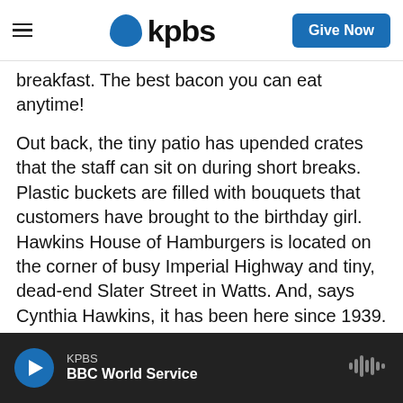kpbs | Give Now
breakfast. The best bacon you can eat anytime!
Out back, the tiny patio has upended crates that the staff can sit on during short breaks. Plastic buckets are filled with bouquets that customers have brought to the birthday girl. Hawkins House of Hamburgers is located on the corner of busy Imperial Highway and tiny, dead-end Slater Street in Watts. And, says Cynthia Hawkins, it has been here since 1939.
"My grandfather built this building. He initially had a malt shop," she says, "and then they had the little grocery store, and then we had this restaurant.
KPBS | BBC World Service